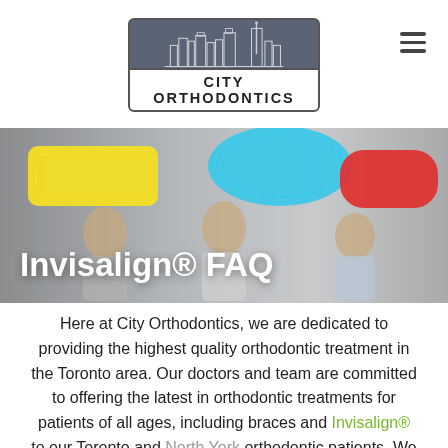[Figure (logo): City Orthodontics logo: gray box with city skyline silhouette and white bar below with text CITY ORTHODONTICS]
[Figure (photo): Three children holding colorful speech bubbles (yellow, blue, red) against a gray background, with white text overlay reading Invisalign® FAQ]
Here at City Orthodontics, we are dedicated to providing the highest quality orthodontic treatment in the Toronto area. Our doctors and team are committed to offering the latest in orthodontic treatments for patients of all ages, including braces and Invisalign® to our Toronto and North York orthodontic patients. We strive to maintain a welcoming office environment to ensure that all our